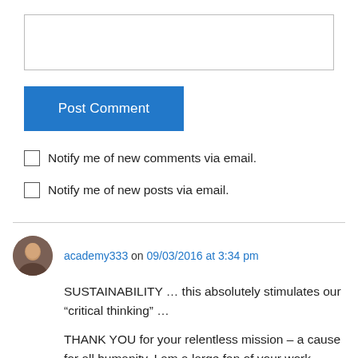[textarea input box]
Post Comment
Notify me of new comments via email.
Notify me of new posts via email.
academy333 on 09/03/2016 at 3:34 pm
SUSTAINABILITY ... this absolutely stimulates our “critical thinking” ...
THANK YOU for your relentless mission – a cause for all humanity. I am a large fan of your work.